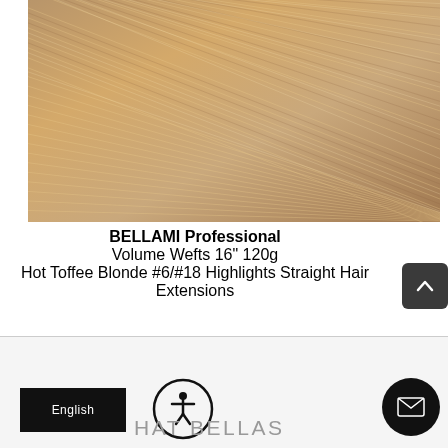[Figure (photo): Close-up photo of BELLAMI hair extensions showing a blonde/brown highlighted (Hot Toffee Blonde #6/#18) straight hair texture pattern with diagonal streaks]
BELLAMI Professional Volume Wefts 16" 120g Hot Toffee Blonde #6/#18 Highlights Straight Hair Extensions
[Figure (logo): HAT BELLAS logo text with accessibility icon (person in circle) and English language selector button in black, plus mail icon button]
HAT BELLAS